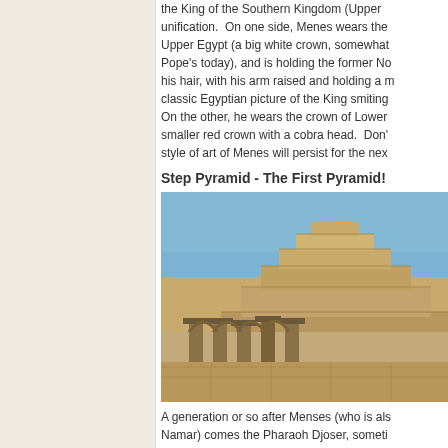the King of the Southern Kingdom (Upper Egypt) after unification. On one side, Menes wears the crown of Upper Egypt (a big white crown, somewhat like the Pope's today), and is holding the former No... his hair, with his arm raised and holding a m... classic Egyptian picture of the King smiting... On the other, he wears the crown of Lower E... smaller red crown with a cobra head. Don'... style of art of Menes will persist for the nex...
Step Pyramid - The First Pyramid!
[Figure (photo): Photograph of the Step Pyramid at Saqqara, Egypt, showing the stepped stone structure rising against a blue sky, with ancient columns and temple ruins in the foreground.]
A generation or so after Menses (who is als... Namar) comes the Pharaoh Djoser, someti... Zoser, who has a genius architect called Im... a Pharaoh comes to power, he begins buil... The longer he lives, the larger the tomb.
Imhotep builds a large burial area at Saqqa... Giza on the west side of the Nile, and si...